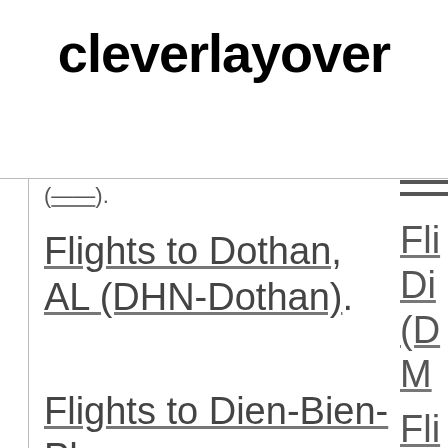cleverlayover
Flights to Dothan, AL (DHN-Dothan)
Flights to Dien-Bien-Phu...